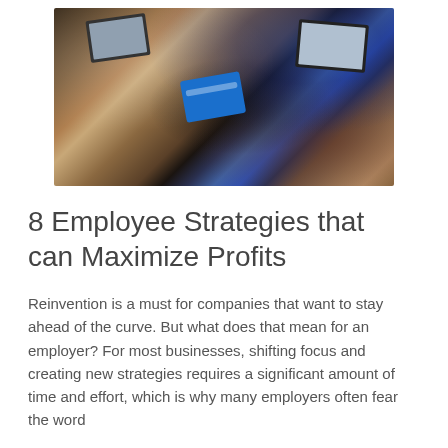[Figure (photo): Overhead view of a team meeting around a wooden table with laptops, a tablet showing a blue screen, notebooks, and people working together.]
8 Employee Strategies that can Maximize Profits
Reinvention is a must for companies that want to stay ahead of the curve. But what does that mean for an employer? For most businesses, shifting focus and creating new strategies requires a significant amount of time and effort, which is why many employers often fear the word